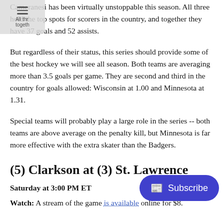Cameranesi has been virtually unstoppable this season. All three hold the top spots for scorers in the country, and together they have 37 goals and 52 assists.
But regardless of their status, this series should provide some of the best hockey we will see all season. Both teams are averaging more than 3.5 goals per game. They are second and third in the country for goals allowed: Wisconsin at 1.00 and Minnesota at 1.31.
Special teams will probably play a large role in the series -- both teams are above average on the penalty kill, but Minnesota is far more effective with the extra skater than the Badgers.
(5) Clarkson at (3) St. Lawrence
Saturday at 3:00 PM ET
Watch: A stream of the game is available online for $8.